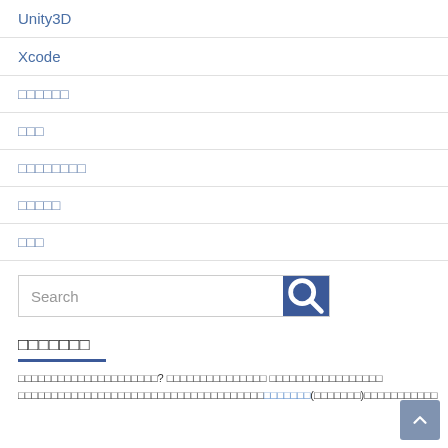Unity3D
Xcode
□□□□□□
□□□
□□□□□□□□
□□□□□
□□□
[Figure (screenshot): Search box with blue search button containing magnifying glass icon]
□□□□□□□
□□□□□□□□□□□□□□□□□□□□□? □□□□□□□□□□□□□□□ □□□□□□□□□□□□□□□□□□□□□□□□□□□□□□□□□□□□□ (□□□□□□□) □□□□□□□□□□□□□□□